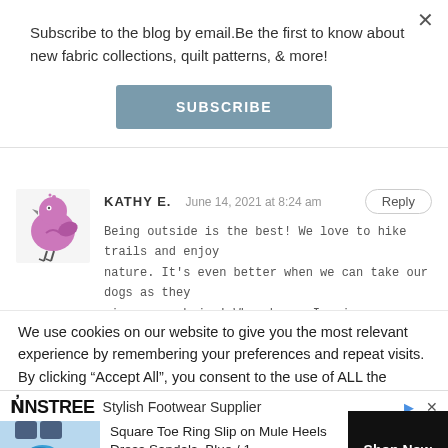Subscribe to the blog by email.Be the first to know about new fabric collections, quilt patterns, & more!
SUBSCRIBE
KATHY E.
June 14, 2021 at 8:24 am
Reply
Being outside is the best! We love to hike trails and enjoy nature. It's even better when we can take our dogs as they give us such joy! When home, I enjoy gardening and
We use cookies on our website to give you the most relevant experience by remembering your preferences and repeat visits. By clicking “Accept All”, you consent to the use of ALL the cookies. However, you may visit
NINSTREE  Stylish Footwear Supplier
Square Toe Ring Slip on Mule Heels Dress Sandals, Blue / 1…
$32
Shop Now